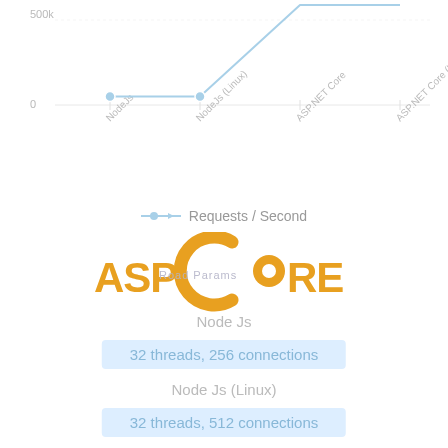[Figure (line-chart): Requests / Second]
[Figure (logo): ASP.NET Core logo in gold/orange color with circular element and lightning bolt, overlaid with 'Road Params' text]
Node Js
32 threads, 256 connections
Node Js (Linux)
32 threads, 512 connections